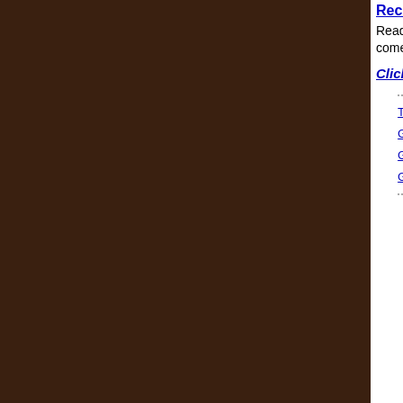Recipe Reviews for Banana Bread B...
Read all the reviews for this recipe, and come back here and let us know what
Click here to write your own.
Top of Gourmet Dog Treat Recipes
Go to More Fruit Dog Treat Recipes
Go to More Gourmet Dog Treat Re...
Go to Dog Treat Recipes Home
[Figure (screenshot): Advertisement for BigBlue Swim School in Dulles with navy blue background, white text 'SAFER SWIMMING STARTS AT BigBlue SWIM SCHOOL DULLES' and a photo of a swimming pool]
[Figure (infographic): Social media sharing buttons: print (green), Pinterest (red), Facebook (blue), email (grey-blue), more (red-orange)]